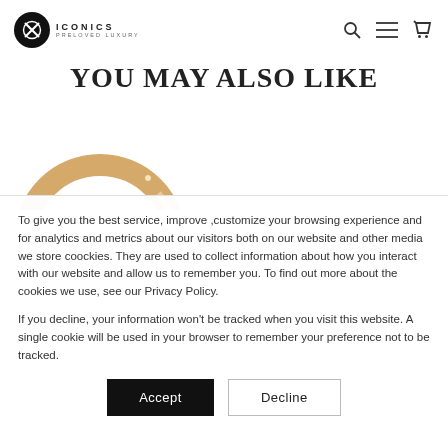ICONICS PRELOVED LUXURY — navigation bar with logo, search, menu, and cart icons
YOU MAY ALSO LIKE
[Figure (photo): Partial view of a gold ring, only the upper arc visible, cropped at the bottom of the visible area before the cookie overlay.]
To give you the best service, improve ,customize your browsing experience and for analytics and metrics about our visitors both on our website and other media we store coockies. They are used to collect information about how you interact with our website and allow us to remember you. To find out more about the cookies we use, see our Privacy Policy.
If you decline, your information won't be tracked when you visit this website. A single cookie will be used in your browser to remember your preference not to be tracked.
Accept   Decline